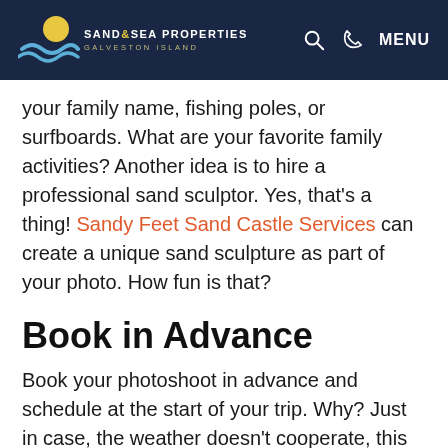Sand & Sea Properties — Galveston Island
your family name, fishing poles, or surfboards. What are your favorite family activities? Another idea is to hire a professional sand sculptor. Yes, that's a thing! Sandy Feet Sand Castle Services can create a unique sand sculpture as part of your photo. How fun is that?
Book in Advance
Book your photoshoot in advance and schedule at the start of your trip. Why? Just in case, the weather doesn't cooperate, this can give you time for a backup date for your Galveston family photos. Plus, it's better to get that photo taken before the sun or